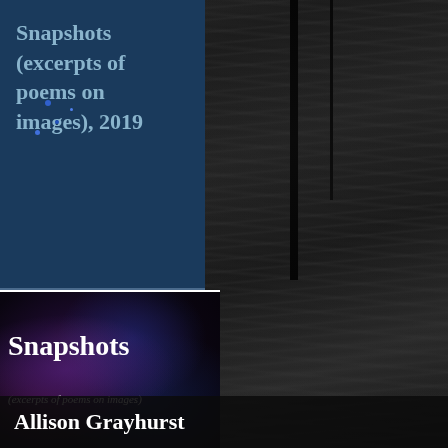Snapshots (excerpts of poems on images), 2019
[Figure (photo): Book cover for 'Snapshots' by Allison Grayhurst, showing the title in white bold text on a dark nebula/galaxy background with blue and purple hues, subtitle '(excerpts of poems on images)' in italic below]
[Figure (photo): Dark textured background resembling bark or rock with vertical cracks and fissures in dark grey and charcoal tones, occupying the right half of the page]
Allison Grayhurst